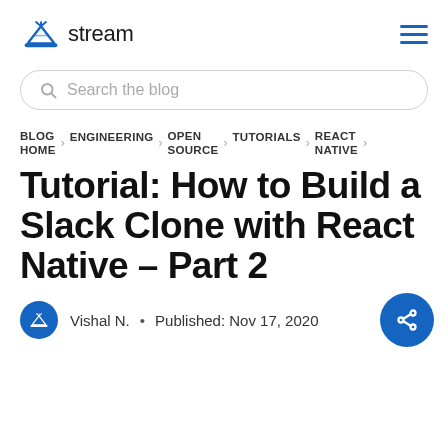stream
Search the blog
BLOG HOME › ENGINEERING › OPEN SOURCE › TUTORIALS › REACT NATIVE ›
Tutorial: How to Build a Slack Clone with React Native – Part 2
Vishal N. • Published: Nov 17, 2020